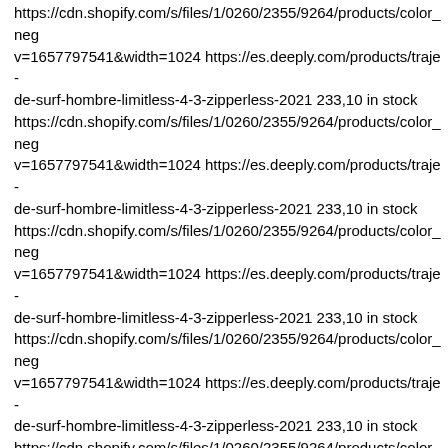https://cdn.shopify.com/s/files/1/0260/2355/9264/products/color_neg v=1657797541&width=1024 https://es.deeply.com/products/traje-de-surf-hombre-limitless-4-3-zipperless-2021 233,10 in stock https://cdn.shopify.com/s/files/1/0260/2355/9264/products/color_neg v=1657797541&width=1024 https://es.deeply.com/products/traje-de-surf-hombre-limitless-4-3-zipperless-2021 233,10 in stock https://cdn.shopify.com/s/files/1/0260/2355/9264/products/color_neg v=1657797541&width=1024 https://es.deeply.com/products/traje-de-surf-hombre-limitless-4-3-zipperless-2021 233,10 in stock https://cdn.shopify.com/s/files/1/0260/2355/9264/products/color_neg v=1657797541&width=1024 https://es.deeply.com/products/traje-de-surf-hombre-limitless-4-3-zipperless-2021 233,10 in stock https://cdn.shopify.com/s/files/1/0260/2355/9264/products/color_neg v=1657797541&width=1024 https://es.deeply.com/products/traje-de-surf-hombre-limitless-4-3-zipperless-2021 233,10 in stock https://cdn.shopify.com/s/files/1/0260/2355/9264/products/color_neg v=1657797541&width=1024 https://es.deeply.com/products/traje-de-surf-hombre-limitless-4-3-zipperless-2021 233,10 in stock https://cdn.shopify.com/s/files/1/0260/2355/9264/products/color_neg v=1657797541&width=1024 https://es.deeply.com/products/traje-de-surf-hombre-limitless-4-3-zipperless-2021 233,10 in stock https://cdn.shopify.com/s/files/1/0260/2355/9264/products/color_neg v=1657797541&width=1024 https://es.deeply.com/products/traje-de-surf-hombre-limitless-4-3-zipperless-2021 233,10 in stock https://cdn.shopify.com/s/files/1/0260/2355/9264/products/color_neg v=1657797541&width=1024 https://es.deeply.com/products/traje-de-surf-hombre-limitless-4-3-zipperless-2021 233,10 in stock https://cdn.shopify.com/s/files/1/0260/2355/9264/products/color_neg v=1657797541&width=1024 https://es.deeply.com/products/traje-